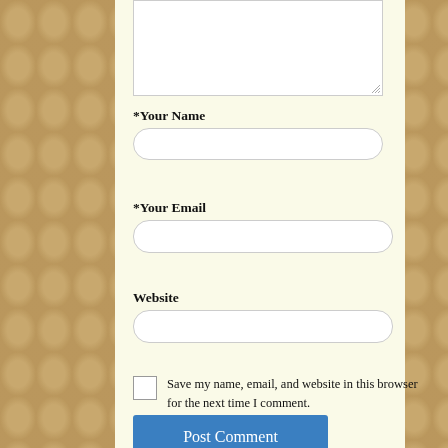[Figure (screenshot): Comment form with textarea (partially visible at top), input fields for Your Name, Your Email, Website, a checkbox with label, and a Post Comment button. Background is a tan/brown decorative pattern on the sides with a cream/light yellow center content area.]
*Your Name
*Your Email
Website
Save my name, email, and website in this browser for the next time I comment.
Post Comment